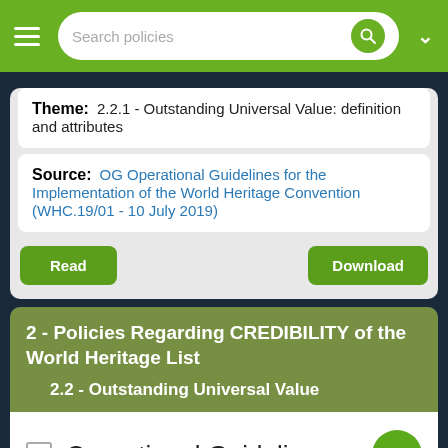Search policies
Theme: 2.2.1 - Outstanding Universal Value: definition and attributes
Source: OG Operational Guidelines for the Implementation of the World Heritage Convention (WHC.19/01 - 10 July 2019)
Read | Download
2 - Policies Regarding CREDIBILITY of the World Heritage List
2.2 - Outstanding Universal Value
Operational Guidelines